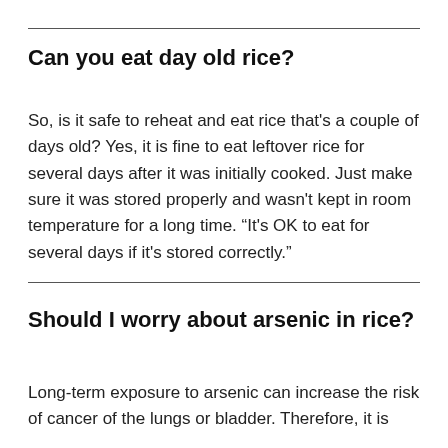Can you eat day old rice?
So, is it safe to reheat and eat rice that's a couple of days old? Yes, it is fine to eat leftover rice for several days after it was initially cooked. Just make sure it was stored properly and wasn't kept in room temperature for a long time. “It's OK to eat for several days if it's stored correctly.”
Should I worry about arsenic in rice?
Long-term exposure to arsenic can increase the risk of cancer of the lungs or bladder. Therefore, it is